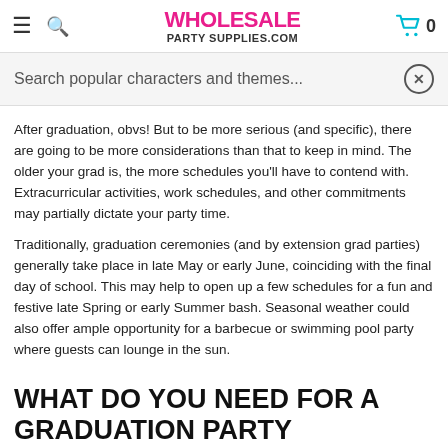WHOLESALE PARTY SUPPLIES.COM
Search popular characters and themes...
After graduation, obvs! But to be more serious (and specific), there are going to be more considerations than that to keep in mind. The older your grad is, the more schedules you'll have to contend with. Extracurricular activities, work schedules, and other commitments may partially dictate your party time.
Traditionally, graduation ceremonies (and by extension grad parties) generally take place in late May or early June, coinciding with the final day of school. This may help to open up a few schedules for a fun and festive late Spring or early Summer bash. Seasonal weather could also offer ample opportunity for a barbecue or swimming pool party where guests can lounge in the sun.
WHAT DO YOU NEED FOR A GRADUATION PARTY
Good food, good friends, and good festivities, of course! When planning for a graduation party, there are so many great options for graduation decoration the possibilities are endless. There are so many little festive decorative...